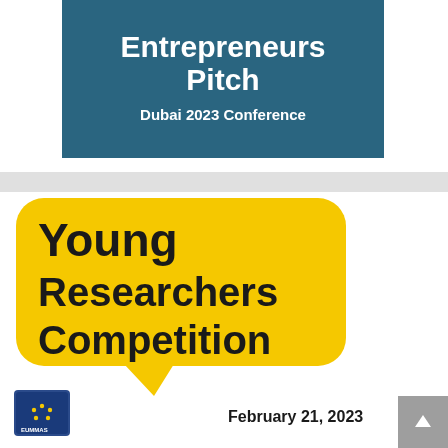[Figure (infographic): Teal/dark blue banner box with white bold text reading 'Entrepreneurs Pitch' as main title and 'Dubai 2023 Conference' as subtitle]
[Figure (infographic): Yellow speech bubble graphic containing bold black text 'Young Researchers Competition' with a lightning bolt tail, and text 'February 21, 2023' below. A EUMMAS logo is in the bottom left corner. A gray scroll-up button is on the right side.]